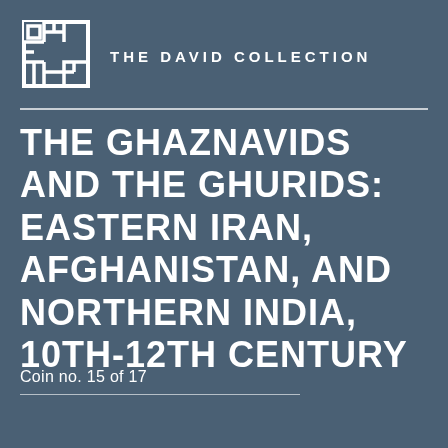[Figure (logo): The David Collection logo - a geometric square interlocking pattern in white outline]
THE DAVID COLLECTION
THE GHAZNAVIDS AND THE GHURIDS: EASTERN IRAN, AFGHANISTAN, AND NORTHERN INDIA, 10TH-12TH CENTURY
Coin no. 15 of 17